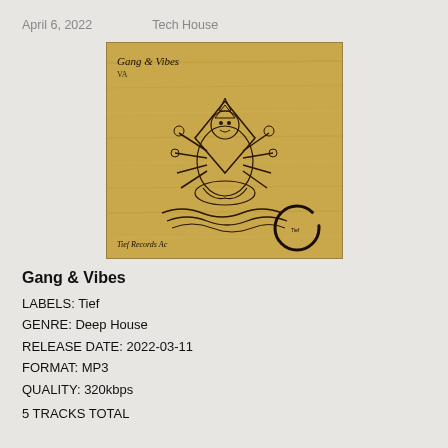April 6, 2022    Tech House
[Figure (illustration): Album cover for Gang & Vibes on Tief Records. Features a hand-drawn illustration of a multi-armed Hindu deity (Ganesha-like figure) on a tan/brown wood-grain textured background. Text reads 'Gang & Vibes' at top left and 'Tief Records Ac' at bottom left. A circle zen-enso brushstroke appears at bottom right.]
Gang & Vibes
LABELS: Tief
GENRE: Deep House
RELEASE DATE: 2022-03-11
FORMAT: MP3
QUALITY: 320kbps
5 TRACKS TOTAL